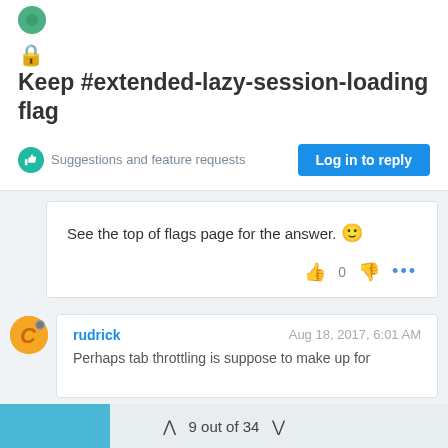🔒Keep #extended-lazy-session-loading flag
Suggestions and feature requests
Log in to reply
See the top of flags page for the answer. 🙂
rudrick   Aug 18, 2017, 6:01 AM
Perhaps tab throttling is suppose to make up for
9 out of 34